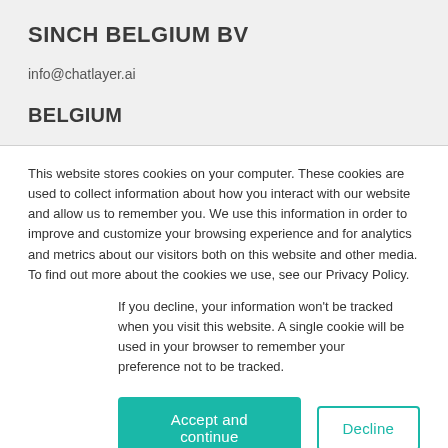SINCH BELGIUM BV
info@chatlayer.ai
BELGIUM
This website stores cookies on your computer. These cookies are used to collect information about how you interact with our website and allow us to remember you. We use this information in order to improve and customize your browsing experience and for analytics and metrics about our visitors both on this website and other media. To find out more about the cookies we use, see our Privacy Policy.
If you decline, your information won’t be tracked when you visit this website. A single cookie will be used in your browser to remember your preference not to be tracked.
Accept and continue
Decline